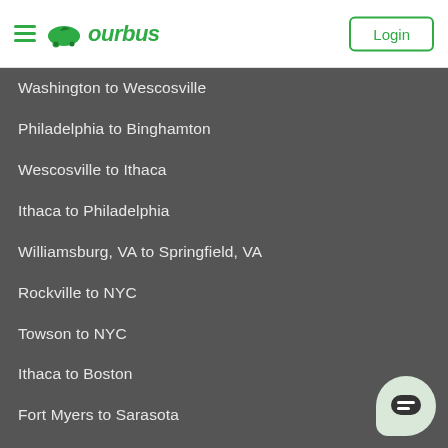ourbus — Login
Washington to Wescosville
Philadelphia to Binghamton
Wescosville to Ithaca
Ithaca to Philadelphia
Williamsburg, VA to Springfield, VA
Rockville to NYC
Towson to NYC
Ithaca to Boston
Fort Myers to Sarasota
Methuen to NYC
Baltimore to Washington
Norfolk to NYC
NYC to Springfield, VA
Washington to Williamsburg, VA